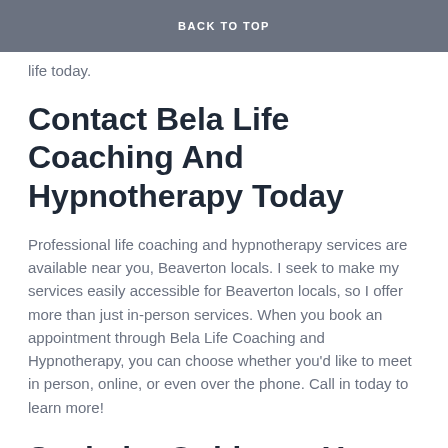BACK TO TOP
worries to hold you back any longer. Take the first step in your journey to start the next purposeful chapter in your life today.
Contact Bela Life Coaching And Hypnotherapy Today
Professional life coaching and hypnotherapy services are available near you, Beaverton locals. I seek to make my services easily accessible for Beaverton locals, so I offer more than just in-person services. When you book an appointment through Bela Life Coaching and Hypnotherapy, you can choose whether you'd like to meet in person, online, or even over the phone. Call in today to learn more!
Seek the Guidance You Need Through Bela Life Coaching